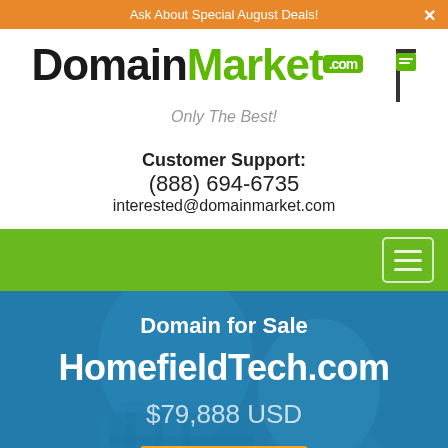Ask About Special August Deals!
[Figure (logo): DomainMarket.com logo with green .com badge and real estate sign icon, tagline: Only The Best!]
Customer Support:
(888) 694-6735
interested@domainmarket.com
[Figure (other): Green navigation bar with hamburger menu button on right]
Domain for Sale
HomefieldTech.com
$79,888 USD